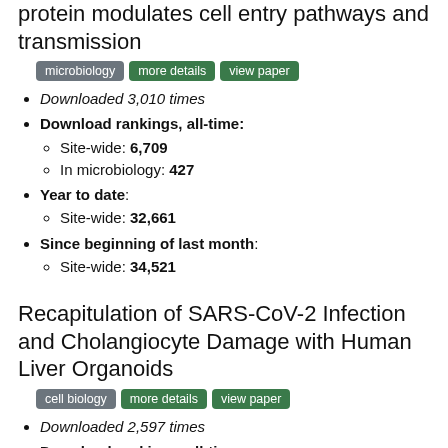protein modulates cell entry pathways and transmission
microbiology  more details  view paper
Downloaded 3,010 times
Download rankings, all-time:
Site-wide: 6,709
In microbiology: 427
Year to date:
Site-wide: 32,661
Since beginning of last month:
Site-wide: 34,521
Recapitulation of SARS-CoV-2 Infection and Cholangiocyte Damage with Human Liver Organoids
cell biology  more details  view paper
Downloaded 2,597 times
Download rankings, all-time:
Site-wide: 8,329